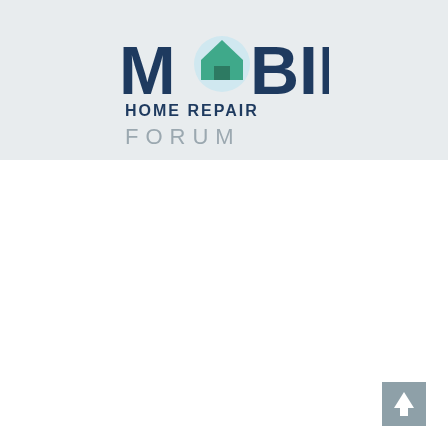[Figure (logo): Mobile Home Repair Forum logo. Large bold dark navy text reads MOBILE with a circular icon replacing the O containing a teal house silhouette on a light blue background. Below in bold navy uppercase: HOME REPAIR. Below in lighter gray spaced caps: FORUM.]
[Figure (other): Gray square scroll-to-top button with a white upward arrow icon, positioned in the bottom-right corner of the page.]